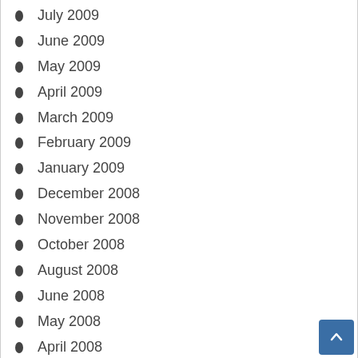July 2009
June 2009
May 2009
April 2009
March 2009
February 2009
January 2009
December 2008
November 2008
October 2008
August 2008
June 2008
May 2008
April 2008
March 2008
February 2008
January 2008
December 2007